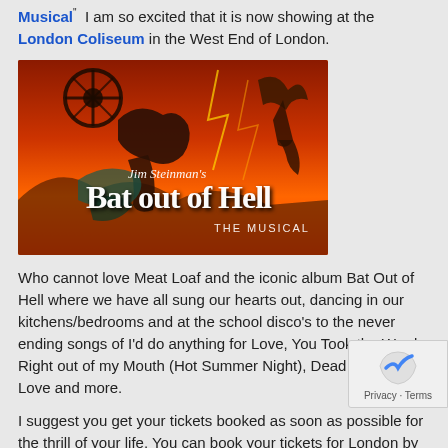Musical" I am so excited that it is now showing at the London Coliseum in the West End of London.
[Figure (illustration): Promotional poster for Jim Steinman's Bat Out of Hell The Musical, with dramatic orange/red background featuring rock and fantasy imagery and large stylized text.]
Who cannot love Meat Loaf and the iconic album Bat Out of Hell where we have all sung our hearts out, dancing in our kitchens/bedrooms and at the school disco's to the never ending songs of I'd do anything for Love, You Took the Words Right out of my Mouth (Hot Summer Night), Dead Ringer for Love and more.
I suggest you get your tickets booked as soon as possible for the thrill of your life. You can book your tickets for London by clicking here.
Click on the link below for further information and a little teaser of the show: